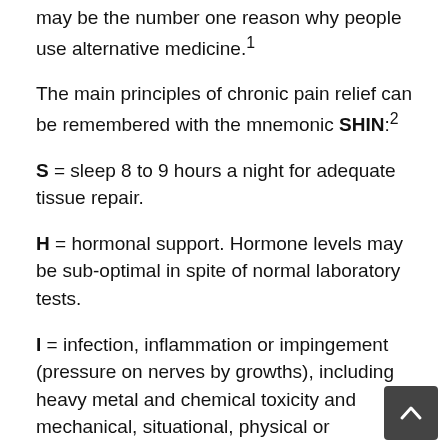may be the number one reason why people use alternative medicine.¹
The main principles of chronic pain relief can be remembered with the mnemonic SHIN:²
S = sleep 8 to 9 hours a night for adequate tissue repair.
H = hormonal support. Hormone levels may be sub-optimal in spite of normal laboratory tests.
I = infection, inflammation or impingement (pressure on nerves by growths), including heavy metal and chemical toxicity and mechanical, situational, physical or psychological stresses, need to be addressed.
N = nutritional support. Optimal nutrition, often well